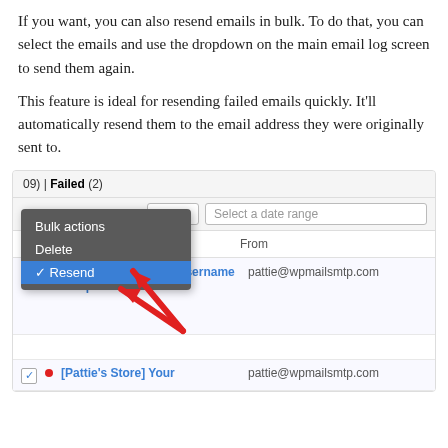If you want, you can also resend emails in bulk. To do that, you can select the emails and use the dropdown on the main email log screen to send them again.
This feature is ideal for resending failed emails quickly. It'll automatically resend them to the email address they were originally sent to.
[Figure (screenshot): Screenshot of a WordPress email log plugin interface showing a bulk actions dropdown menu with 'Bulk actions', 'Delete', and 'Resend' (selected/highlighted in blue) options. A red arrow points to the Resend option. The email table shows entries with checkboxes, a red dot indicator, subject '[Pattie's Store] Your username and password info', and from address 'pattie@wpmailsmtp.com'. A filter bar shows 'Failed (2)' and an Apply button with date range selector.]